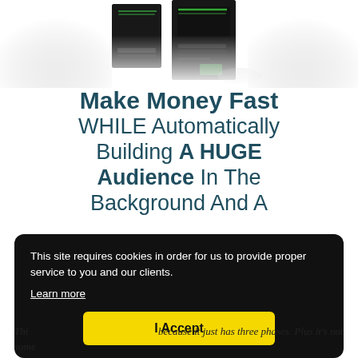[Figure (photo): Product box images (software/digital product boxes) shown at top of page, fading into white background]
Make Money Fast WHILE Automatically Building A HUGE Audience In The Background And A
This site requires cookies in order for us to provide proper service to you and our clients. Learn more
I Accept
Thi... because it just has three phases. Plus it's not some